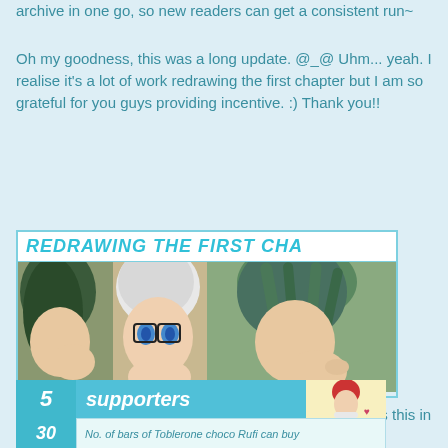archive in one go, so new readers can get a consistent run~
Oh my goodness, this was a long update. @_@ Uhm... yeah. I realise it's a lot of work redrawing the first chapter but I am so grateful for you guys providing incentive. :) Thank you!!
[Figure (illustration): Manga-style illustration banner titled 'REDRAWING THE FIRST CHA...' showing two manga character panels side by side - one with dark/teal hair and one with white/silver hair and blue eyes on left, and a character with green hair on right.]
(Please click to go to the DA journal entry that describes this in more detail :)
[Figure (infographic): Supporters infographic showing '5 supporters' in teal banner with anime character avatar, and below '30' with 'No. of bars of Toblerone choco Rufi can buy']